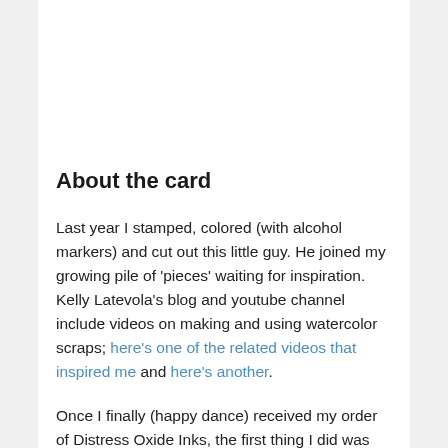About the card
Last year I stamped, colored (with alcohol markers) and cut out this little guy. He joined my growing pile of 'pieces' waiting for inspiration. Kelly Latevola's blog and youtube channel include videos on making and using watercolor scraps; here's one of the related videos that inspired me and here's another.
Once I finally (happy dance) received my order of Distress Oxide Inks, the first thing I did was play around with them coloring some paper to use for backgrounds. It's one of my favorite things to do!
I used a deckle-edged rectangle to cut out the background, copic markers to put dots down then